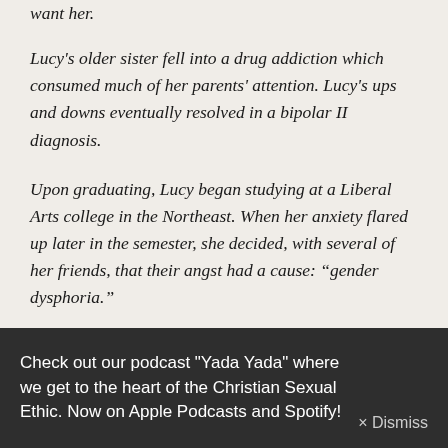want her.
Lucy's older sister fell into a drug addiction which consumed much of her parents' attention. Lucy's ups and downs eventually resolved in a bipolar II diagnosis.
Upon graduating, Lucy began studying at a Liberal Arts college in the Northeast. When her anxiety flared up later in the semester, she decided, with several of her friends, that their angst had a cause: “gender dysphoria.”
Within a year Lucy had begun a course of testosterone, shaved her head, started wearing boys’ clothes, and
Check out our podcast "Yada Yada" where we get to the heart of the Christian Sexual Ethic. Now on Apple Podcasts and Spotify!× Dismiss